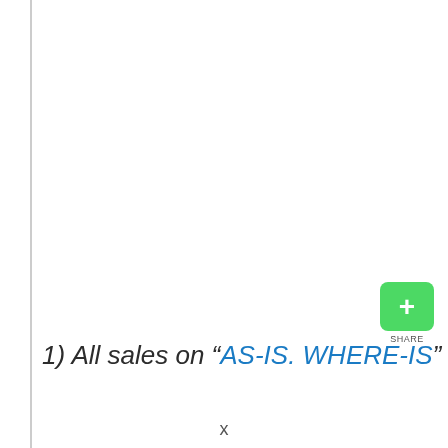[Figure (other): Green share button with white plus icon and SHARE label]
1) All sales on “AS-IS. WHERE-IS”